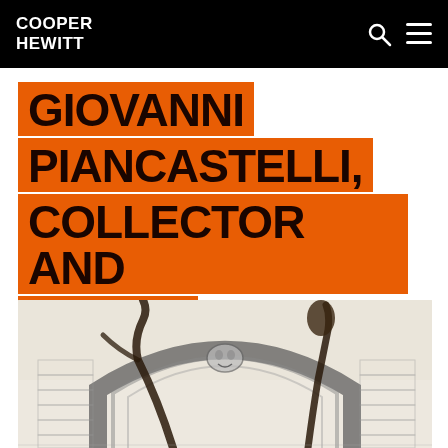COOPER HEWITT
GIOVANNI PIANCASTELLI, COLLECTOR AND ARTIST
[Figure (illustration): Black and white sketch/etching of an architectural arch with ornate carvings, a face or mask at the keystone, and dark organic forms (possibly branches or serpents) rising above the arch against a background of ruined masonry.]